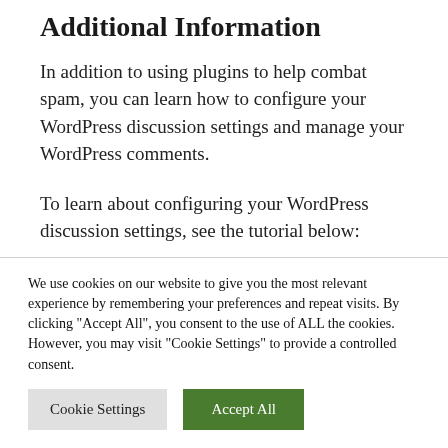Additional Information
In addition to using plugins to help combat spam, you can learn how to configure your WordPress discussion settings and manage your WordPress comments.
To learn about configuring your WordPress discussion settings, see the tutorial below:
We use cookies on our website to give you the most relevant experience by remembering your preferences and repeat visits. By clicking "Accept All", you consent to the use of ALL the cookies. However, you may visit "Cookie Settings" to provide a controlled consent.
Cookie Settings | Accept All